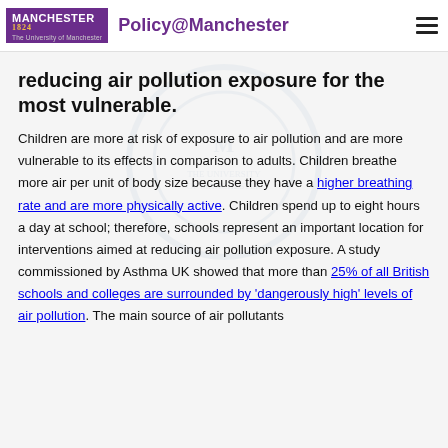MANCHESTER 1824 The University of Manchester | Policy@Manchester
reducing air pollution exposure for the most vulnerable.
Children are more at risk of exposure to air pollution and are more vulnerable to its effects in comparison to adults. Children breathe more air per unit of body size because they have a higher breathing rate and are more physically active. Children spend up to eight hours a day at school; therefore, schools represent an important location for interventions aimed at reducing air pollution exposure. A study commissioned by Asthma UK showed that more than 25% of all British schools and colleges are surrounded by 'dangerously high' levels of air pollution. The main source of air pollutants